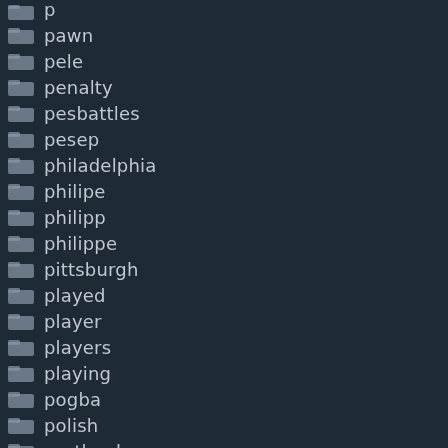pawn
pele
penalty
pesbattles
pesep
philadelphia
philipe
philipp
philippe
pittsburgh
played
player
players
playing
pogba
polish
portland
portugal